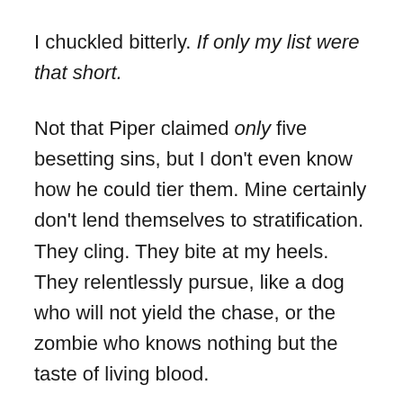I chuckled bitterly. If only my list were that short.
Not that Piper claimed only five besetting sins, but I don't even know how he could tier them. Mine certainly don't lend themselves to stratification. They cling. They bite at my heels. They relentlessly pursue, like a dog who will not yield the chase, or the zombie who knows nothing but the taste of living blood.
I'm not rolling over, mind you. On some